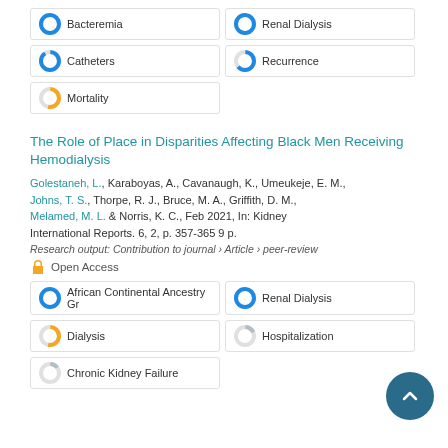Bacteremia
Renal Dialysis
Catheters
Recurrence
Mortality
The Role of Place in Disparities Affecting Black Men Receiving Hemodialysis
Golestaneh, L., Karaboyas, A., Cavanaugh, K., Umeukeje, E. M., Johns, T. S., Thorpe, R. J., Bruce, M. A., Griffith, D. M., Melamed, M. L. & Norris, K. C., Feb 2021, In: Kidney International Reports. 6, 2, p. 357-365 9 p.
Research output: Contribution to journal › Article › peer-review
Open Access
African Continental Ancestry Gr
Renal Dialysis
Dialysis
Hospitalization
Chronic Kidney Failure